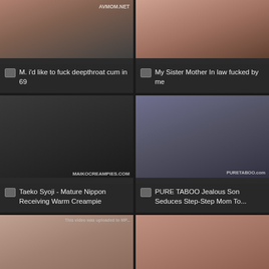[Figure (screenshot): Video thumbnail grid item 1 - top portion visible with AVMOM.NET watermark]
M. i'd like to fuck deepthroat cum in 69
[Figure (screenshot): Video thumbnail grid item 2 - top portion visible]
My Sister Mother In law fucked by me
[Figure (screenshot): Video thumbnail - Taeko Syoji mature content, MAIKOCREAMPIES.COM watermark]
Taeko Syoji - Mature Nippon Receiving Warm Creampie
[Figure (screenshot): Video thumbnail - PURE TABOO, man on couch with phone, PURETABOO.com watermark]
PURE TABOO Jealous Son Seduces Step-Step Mom To...
[Figure (screenshot): Video thumbnail - Asian milf, www.HeyJapaneseMilf.com watermark]
Asian milf rides her studs hard cock in her bedroom
[Figure (screenshot): Video thumbnail - Oriental milf threeway]
Oriental milf threeway with her two eager studs
[Figure (screenshot): Video thumbnail partial - bottom row left]
[Figure (screenshot): Video thumbnail partial - bottom row right]